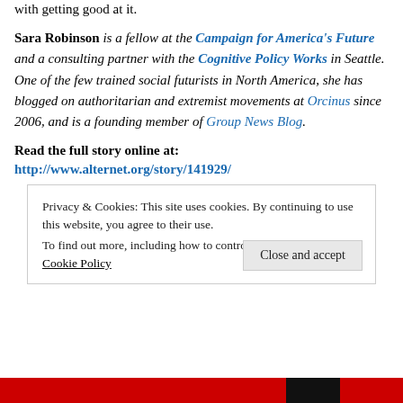with getting good at it.
Sara Robinson is a fellow at the Campaign for America's Future and a consulting partner with the Cognitive Policy Works in Seattle. One of the few trained social futurists in North America, she has blogged on authoritarian and extremist movements at Orcinus since 2006, and is a founding member of Group News Blog.
Read the full story online at:
http://www.alternet.org/story/141929/
Privacy & Cookies: This site uses cookies. By continuing to use this website, you agree to their use. To find out more, including how to control cookies, see here: Cookie Policy
Close and accept